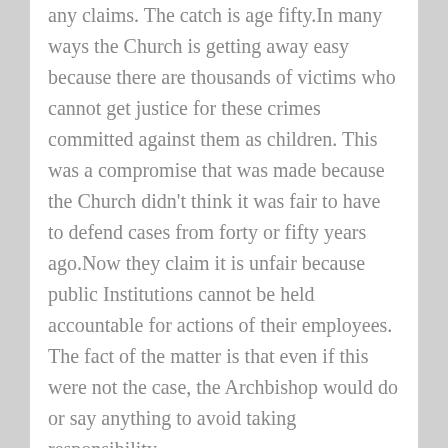any claims. The catch is age fifty.In many ways the Church is getting away easy because there are thousands of victims who cannot get justice for these crimes committed against them as children. This was a compromise that was made because the Church didn't think it was fair to have to defend cases from forty or fifty years ago.Now they claim it is unfair because public Institutions cannot be held accountable for actions of their employees. The fact of the matter is that even if this were not the case, the Archbishop would do or say anything to avoid taking responsibility.
Loading...
Reply